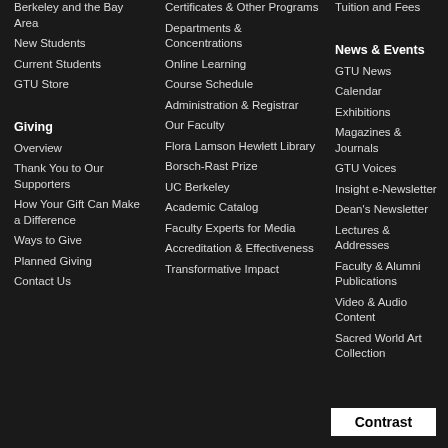Berkeley and the Bay Area
New Students
Current Students
GTU Store
Giving
Overview
Thank You to Our Supporters
How Your Gift Can Make a Difference
Ways to Give
Planned Giving
Contact Us
Certificates & Other Programs
Departments & Concentrations
Online Learning
Course Schedule
Administration & Registrar
Our Faculty
Flora Lamson Hewlett Library
Borsch-Rast Prize
UC Berkeley
Academic Catalog
Faculty Experts for Media
Accreditation & Effectiveness
Transformative Impact
Tuition and Fees
News & Events
GTU News
Calendar
Exhibitions
Magazines & Journals
GTU Voices
Insight e-Newsletter
Dean's Newsletter
Lectures & Addresses
Faculty & Alumni Publications
Video & Audio Content
Sacred World Art Collection
Contrast